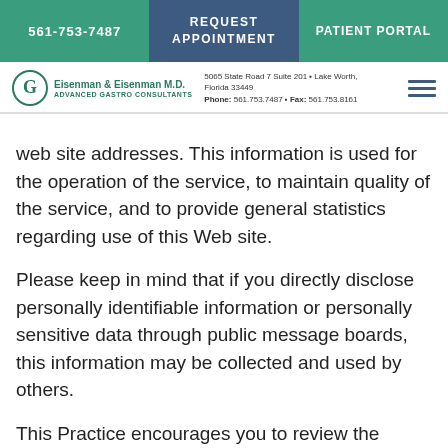561-753-7487 | REQUEST APPOINTMENT | PATIENT PORTAL
Eisenman & Eisenman M.D. Advanced Gastro Consultants | 5065 State Road 7 Suite 201 • Lake Worth, Florida 33449 | Phone: 561.753.7487 • Fax: 561.753.8161
web site addresses. This information is used for the operation of the service, to maintain quality of the service, and to provide general statistics regarding use of this Web site.
Please keep in mind that if you directly disclose personally identifiable information or personally sensitive data through public message boards, this information may be collected and used by others.
This Practice encourages you to review the privacy statements of Web sites you choose to link to from the website so that you can understand how those Web sites collect, use and share your information. This Practice is not